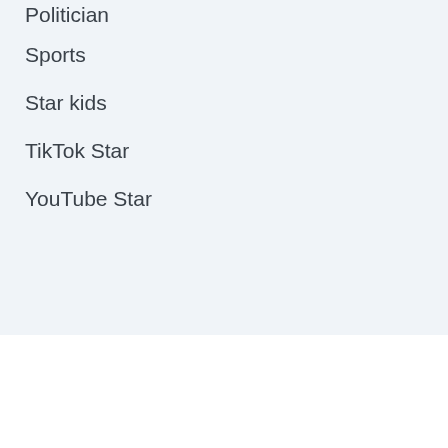Politician
Sports
Star kids
TikTok Star
YouTube Star